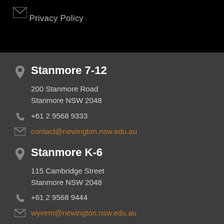Privacy Policy
Stanmore 7-12
200 Stanmore Road
Stanmore NSW 2048
+61 2 9568 9333
contact@newington.nsw.edu.au
Stanmore K-6
115 Cambridge Street
Stanmore NSW 2048
+61 2 9568 9444
wyvern@newington.nsw.edu.au
Lindfield K-6
26 Northcote Road